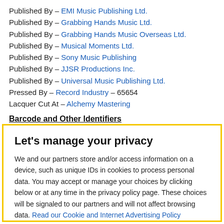Published By – EMI Music Publishing Ltd.
Published By – Grabbing Hands Music Ltd.
Published By – Grabbing Hands Music Overseas Ltd.
Published By – Musical Moments Ltd.
Published By – Sony Music Publishing
Published By – JJSR Productions Inc.
Published By – Universal Music Publishing Ltd.
Pressed By – Record Industry – 65654
Lacquer Cut At – Alchemy Mastering
Barcode and Other Identifiers
Let's manage your privacy
We and our partners store and/or access information on a device, such as unique IDs in cookies to process personal data. You may accept or manage your choices by clicking below or at any time in the privacy policy page. These choices will be signaled to our partners and will not affect browsing data. Read our Cookie and Internet Advertising Policy